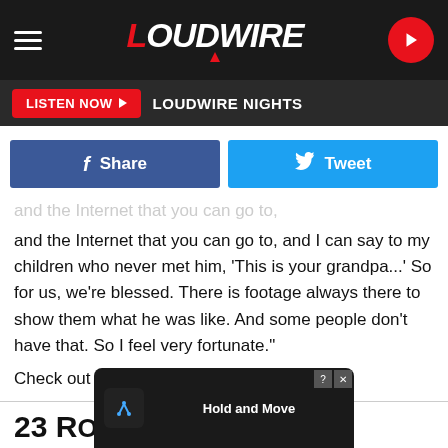LOUDWIRE — LISTEN NOW ▶ LOUDWIRE NIGHTS
Share  Tweet
and the Internet that you can go to, and I can say to my children who never met him, 'This is your grandpa...' So for us, we're blessed. There is footage always there to show them what he was like. And some people don't have that. So I feel very fortunate."
Check out the full interview here.
23 ROCK + METAL DRUMMERS INFL